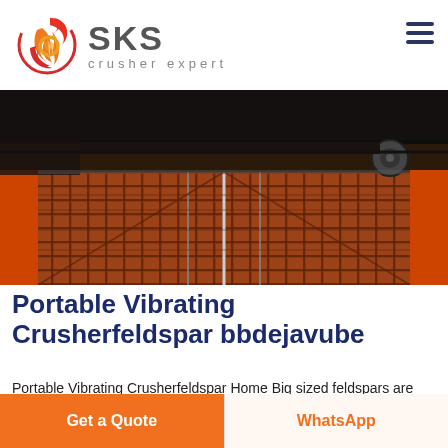[Figure (logo): SKS crusher expert logo — stylized red/orange circular flame motif with grey SKS text and 'crusher expert' subtitle]
[Figure (photo): Close-up photo of industrial vibrating screen/feeder mesh surface with orange/brown textured metal grid, viewed in perspective from front, with dark machinery frame overhead]
Portable Vibrating Crusherfeldspar bbdejavube
Portable Vibrating Crusherfeldspar Home Big sized feldspars are transferred to primary crusher through vibrating feeder from hopper